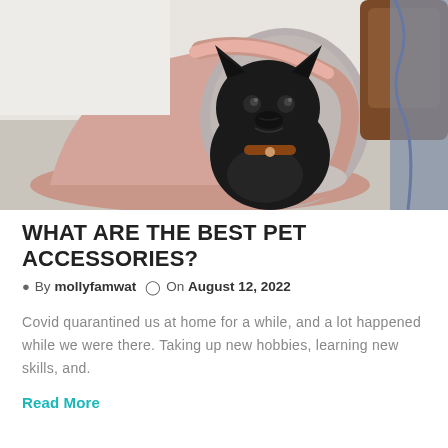[Figure (photo): A black French bulldog sitting inside a pink cone-shaped felt pet bed on a carpeted floor, with a brown leather chair visible in the background.]
WHAT ARE THE BEST PET ACCESSORIES?
By mollyfamwat  On August 12, 2022
Covid quarantined us at home for a while, and a lot happened while we were there. Taking up new hobbies, learning new skills, and.
Read More